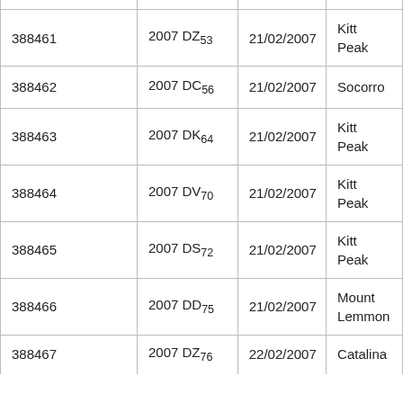| 388461 | 2007 DZ53 | 21/02/2007 | Kitt Peak |
| 388462 | 2007 DC56 | 21/02/2007 | Socorro |
| 388463 | 2007 DK64 | 21/02/2007 | Kitt Peak |
| 388464 | 2007 DV70 | 21/02/2007 | Kitt Peak |
| 388465 | 2007 DS72 | 21/02/2007 | Kitt Peak |
| 388466 | 2007 DD75 | 21/02/2007 | Mount Lemmon |
| 388467 | 2007 DZ76 | 22/02/2007 | Catalina |